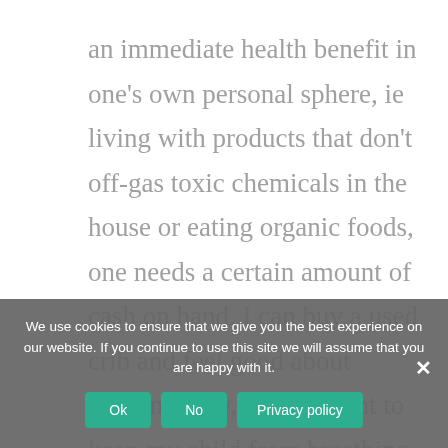an immediate health benefit in one's own personal sphere, ie living with products that don't off-gas toxic chemicals in the house or eating organic foods, one needs a certain amount of cash on hand. I can buy a used crib and feel good about sustainability, but if I want to keep my child from breathing in formaldehyde etc, I need to buy a new pricey one. We can all save the planet; only
We use cookies to ensure that we give you the best experience on our website. If you continue to use this site we will assume that you are happy with it.